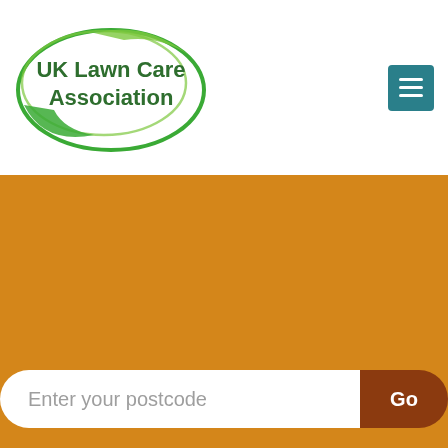[Figure (logo): UK Lawn Care Association logo — green oval outline with text inside]
[Figure (other): Hamburger menu button icon — teal/dark cyan square with three white horizontal lines]
[Figure (other): Orange/golden-yellow background section filling most of the page below the header]
Enter your postcode
Go